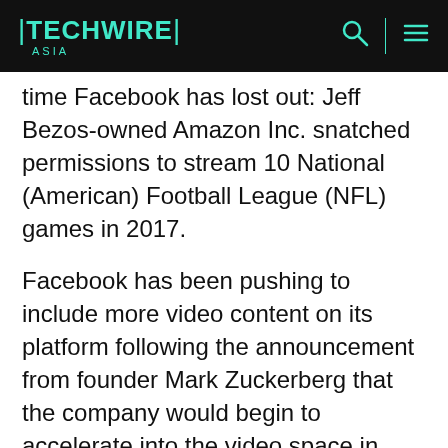TECHWIRE ASIA
time Facebook has lost out: Jeff Bezos-owned Amazon Inc. snatched permissions to stream 10 National (American) Football League (NFL) games in 2017.
Facebook has been pushing to include more video content on its platform following the announcement from founder Mark Zuckerberg that the company would begin to accelerate into the video space in order to capitalize on television's bleeding advertising money. The social media platform is looking for original content and third party content in order to draw new users even as Facebook continues to lose out on younger audiences.